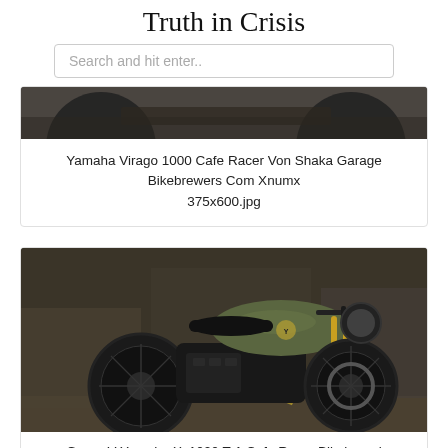Truth in Crisis
Search and hit enter..
[Figure (photo): Top portion of a motorcycle photo, dark tones showing wheels and mechanical parts]
Yamaha Virago 1000 Cafe Racer Von Shaka Garage Bikebrewers Com Xnumx
375x600.jpg
[Figure (photo): Green and black custom Yamaha XV1000 TR1 cafe racer motorcycle with gold front forks, photographed in a dark industrial setting]
Green V Yamaha Xv1000 Tr1 Cafe Racer Bikebound